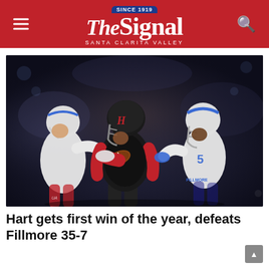The Signal — Santa Clarita Valley (Since 1919)
[Figure (photo): Football action photo showing a Hart High School player in black and red uniform catching/carrying the ball while being defended by two Fillmore players in white and blue uniforms, taken at night under stadium lights.]
Hart gets first win of the year, defeats Fillmore 35-7